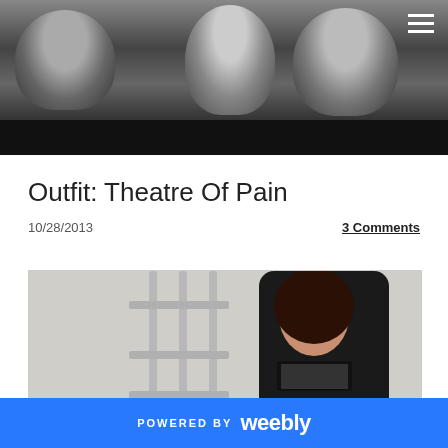[Figure (photo): Black and white header photo of a band with three people wearing sunglasses, dark atmospheric background]
Outfit: Theatre Of Pain
10/28/2013
3 Comments
[Figure (photo): Color photo of a young woman with long dark hair wearing a dark outfit, posing near metal railings with a light background]
POWERED BY weebly